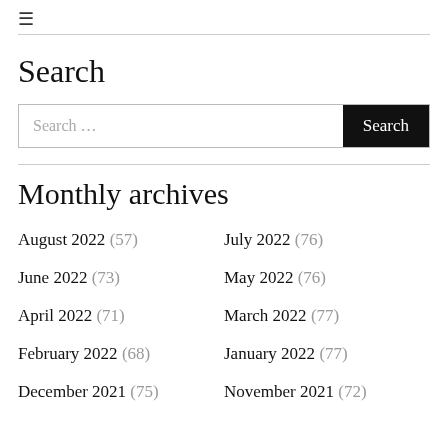≡
Search
Search ...
Monthly archives
August 2022 (57)
July 2022 (76)
June 2022 (73)
May 2022 (76)
April 2022 (71)
March 2022 (77)
February 2022 (68)
January 2022 (77)
December 2021 (75)
November 2021 (72)